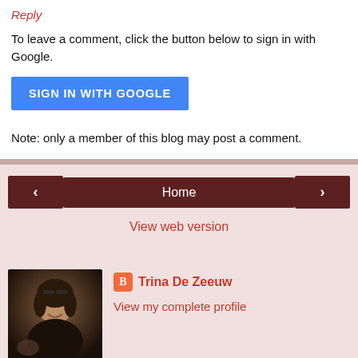Reply
To leave a comment, click the button below to sign in with Google.
[Figure (other): SIGN IN WITH GOOGLE button (blue)]
Note: only a member of this blog may post a comment.
[Figure (other): Navigation row with left arrow button, Home button, right arrow button]
View web version
About Me
[Figure (photo): Profile photo of Trina De Zeeuw, a woman with dark hair smiling]
Trina De Zeeuw
View my complete profile